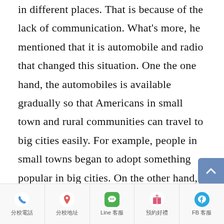in different places. That is because of the lack of communication. What's more, he mentioned that it is automobile and radio that changed this situation. One the one hand, the automobiles is available gradually so that Americans in small town and rural communities can travel to big cities easily. For example, people in small towns began to adopt something popular in big cities. On the other hand, the radioownership is increasing. In this way, people can listen to the same popular radio program and they
分校電話 | 分校地址 | Line 客服 | 預約好禮 | FB 客服